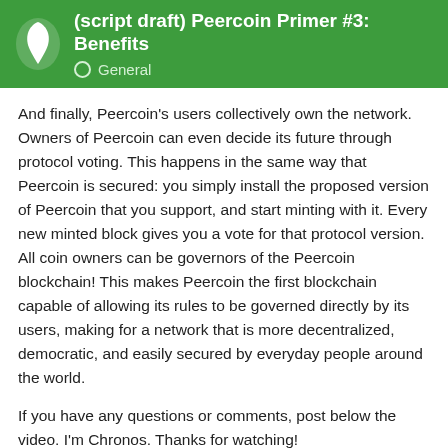(script draft) Peercoin Primer #3: Benefits — General
And finally, Peercoin's users collectively own the network. Owners of Peercoin can even decide its future through protocol voting. This happens in the same way that Peercoin is secured: you simply install the proposed version of Peercoin that you support, and start minting with it. Every new minted block gives you a vote for that protocol version. All coin owners can be governors of the Peercoin blockchain! This makes Peercoin the first blockchain capable of allowing its rules to be governed directly by its users, making for a network that is more decentralized, democratic, and easily secured by everyday people around the world.
If you have any questions or comments, post below the video. I'm Chronos. Thanks for watching!
1
SentinelRv  17 / 28